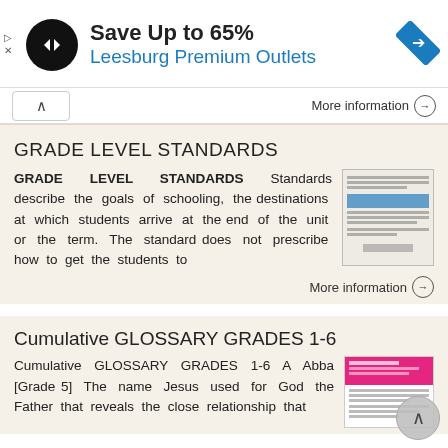[Figure (infographic): Advertisement banner: Save Up to 65% Leesburg Premium Outlets with logo and navigation icon]
More information →
GRADE LEVEL STANDARDS
GRADE LEVEL STANDARDS Standards describe the goals of schooling, the destinations at which students arrive at the end of the unit or the term. The standard does not prescribe how to get the students to
More information →
Cumulative GLOSSARY GRADES 1-6
Cumulative GLOSSARY GRADES 1-6 A Abba [Grade 5] The name Jesus used for God the Father that reveals the close relationship that